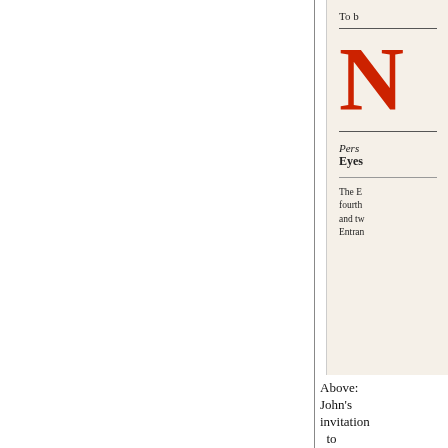[Figure (illustration): Partial view of an invitation card with cream/beige background, showing a large red letter N, decorative horizontal rules, italic text 'Pers' and 'Eyes' (partially visible), and body text beginning 'The E... fourth... and tw... Entran...']
Above: John's invitation to